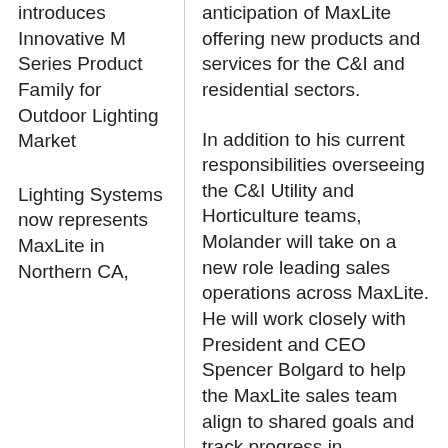introduces Innovative M Series Product Family for Outdoor Lighting Market
Lighting Systems now represents MaxLite in Northern CA,
anticipation of MaxLite offering new products and services for the C&I and residential sectors.
In addition to his current responsibilities overseeing the C&I Utility and Horticulture teams, Molander will take on a new role leading sales operations across MaxLite. He will work closely with President and CEO Spencer Bolgard to help the MaxLite sales team align to shared goals and track progress in